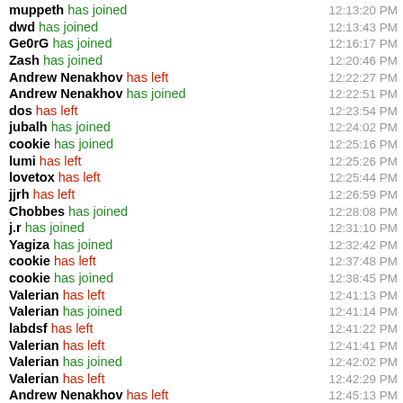muppeth has joined 12:13:20 PM
dwd has joined 12:13:43 PM
Ge0rG has joined 12:16:17 PM
Zash has joined 12:20:46 PM
Andrew Nenakhov has left 12:22:27 PM
Andrew Nenakhov has joined 12:22:51 PM
dos has left 12:23:54 PM
jubalh has joined 12:24:02 PM
cookie has joined 12:25:16 PM
lumi has left 12:25:26 PM
lovetox has left 12:25:44 PM
jjrh has left 12:26:59 PM
Chobbes has joined 12:28:08 PM
j.r has joined 12:31:10 PM
Yagiza has joined 12:32:42 PM
cookie has left 12:37:48 PM
cookie has joined 12:38:45 PM
Valerian has left 12:41:13 PM
Valerian has joined 12:41:14 PM
labdsf has left 12:41:22 PM
Valerian has left 12:41:41 PM
Valerian has joined 12:42:02 PM
Valerian has left 12:42:29 PM
Andrew Nenakhov has left 12:45:13 PM
Andrew Nenakhov has joined 12:45:17 PM